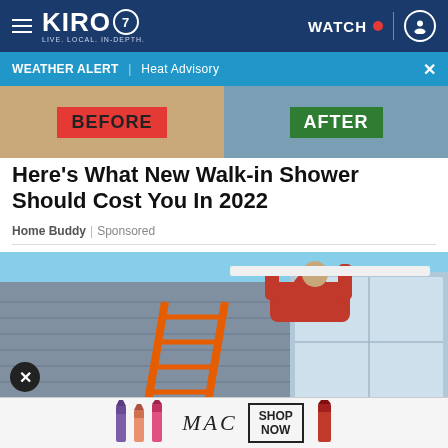KIRO 7 LIVE. LOCAL. IN-DEPTH. | WATCH | [user icon]
WEATHER ALERT | Heat Advisory
[Figure (photo): Before and after comparison image strip showing home renovation]
Here's What New Walk-in Shower Should Cost You In 2022
Home Buddy | Sponsored
[Figure (photo): Person on orange ladder installing something on exterior of house with blue siding]
[Figure (photo): MAC cosmetics advertisement showing lipsticks with SHOP NOW button]